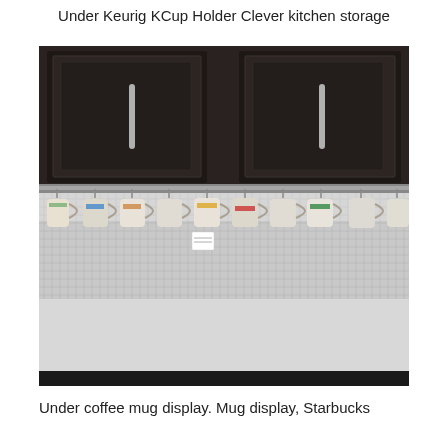Under Keurig KCup Holder Clever kitchen storage
[Figure (photo): A kitchen scene showing dark wooden cabinets above a metallic mosaic tile backsplash. Hanging from a rail beneath the cabinets are numerous coffee mugs with colorful designs, suspended on S-hooks over a light-colored countertop.]
Under coffee mug display. Mug display, Starbucks